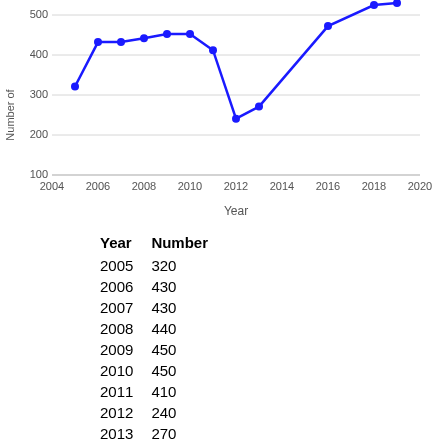[Figure (line-chart): ]
| Year | Number |
| --- | --- |
| 2005 | 320 |
| 2006 | 430 |
| 2007 | 430 |
| 2008 | 440 |
| 2009 | 450 |
| 2010 | 450 |
| 2011 | 410 |
| 2012 | 240 |
| 2013 | 270 |
| 2017 | 470 |
| 2018 | 570 |
| 2019 | 590 |